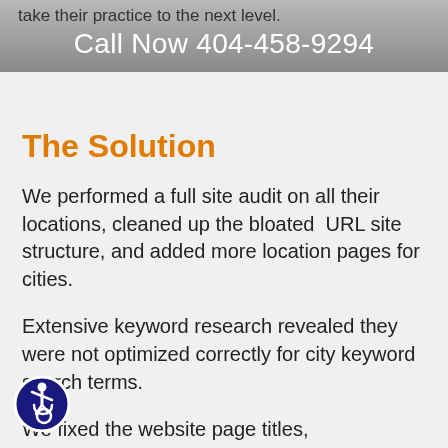take their practice to the next level.
Call Now 404-458-9294
The Solution
We performed a full site audit on all their locations, cleaned up the bloated  URL site structure, and added more location pages for cities.
Extensive keyword research revealed they were not optimized correctly for city keyword search terms.
We fixed the website page titles, descriptions, and content by adding these words so Google understood what the pages were about.
[Figure (illustration): Accessibility icon: circular blue badge with white wheelchair user symbol]